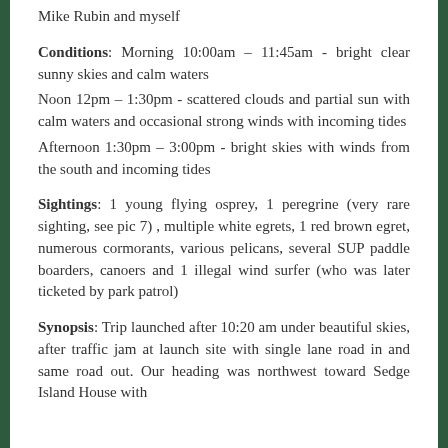Mike Rubin and myself
Conditions: Morning 10:00am – 11:45am - bright clear sunny skies and calm waters
Noon 12pm – 1:30pm - scattered clouds and partial sun with calm waters and occasional strong winds with incoming tides
Afternoon 1:30pm – 3:00pm - bright skies with winds from the south and incoming tides
Sightings: 1 young flying osprey, 1 peregrine (very rare sighting, see pic 7) , multiple white egrets, 1 red brown egret, numerous cormorants, various pelicans, several SUP paddle boarders, canoers and 1 illegal wind surfer (who was later ticketed by park patrol)
Synopsis: Trip launched after 10:20 am under beautiful skies, after traffic jam at launch site with single lane road in and same road out. Our heading was northwest toward Sedge Island House with